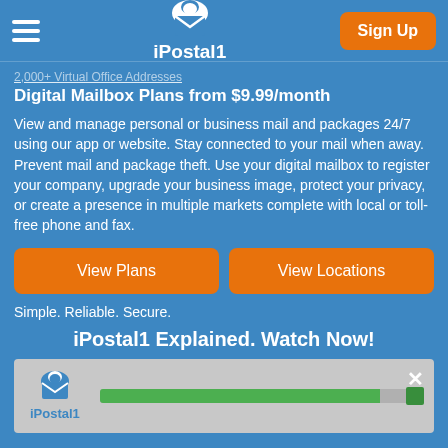iPostal1
Digital Mailbox Plans from $9.99/month
View and manage personal or business mail and packages 24/7 using our app or website. Stay connected to your mail when away. Prevent mail and package theft. Use your digital mailbox to register your company, upgrade your business image, protect your privacy, or create a presence in multiple markets complete with local or toll-free phone and fax.
View Plans
View Locations
Simple. Reliable. Secure.
iPostal1 Explained. Watch Now!
[Figure (screenshot): iPostal1 video player thumbnail showing logo and a green progress bar near the end of playback with a close button.]